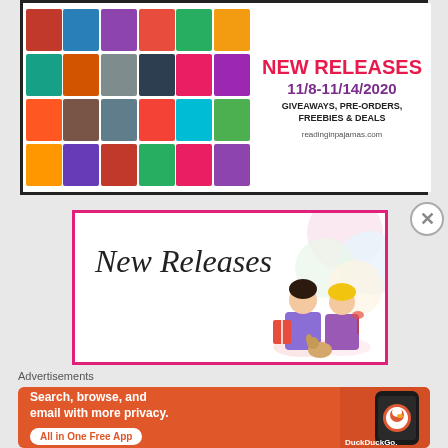[Figure (illustration): Book collage banner for 'New Releases 11/8-11/14/2020' with text: 'GIVEAWAYS, PRE-ORDERS, FREEBIES & DEALS' and website readinginpajamas.com. Left side shows grid of romance/fiction book covers. Right side has the text in pink/purple.]
[Figure (illustration): New Releases card with pink border, script text 'New Releases' and cartoon illustration of two women reading books with colorful circles in background.]
Advertisements
[Figure (illustration): DuckDuckGo advertisement banner with orange background. Text: 'Search, browse, and email with more privacy. All in One Free App'. Shows a phone with DuckDuckGo logo.]